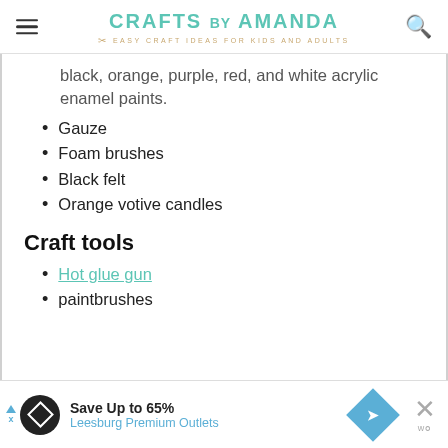CRAFTS BY AMANDA — EASY CRAFT IDEAS FOR KIDS AND ADULTS
black, orange, purple, red, and white acrylic enamel paints.
Gauze
Foam brushes
Black felt
Orange votive candles
Craft tools
Hot glue gun
paintbrushes